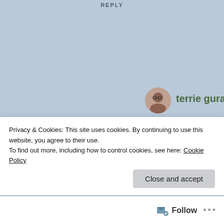REPLY
[Figure (photo): Circular avatar photo of Terrie Gura, a woman with glasses and dark hair]
terrie gura
Thanks, Donna! And now I have to get busy recreating some of the terrific foods we enjoyed...
Privacy & Cookies: This site uses cookies. By continuing to use this website, you agree to their use.
To find out more, including how to control cookies, see here: Cookie Policy
Close and accept
Follow